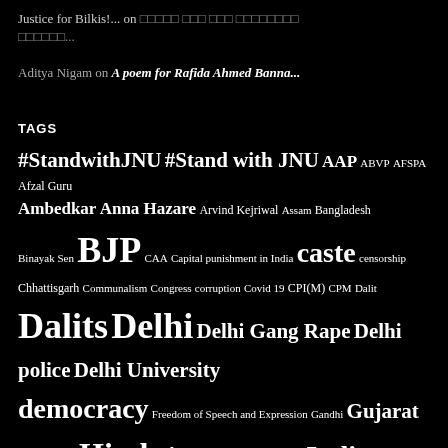Justice for Bilkis!... on ░░░░░ ░░░ ░░░ ░░░░░░░░ ░░░░░░░...
Aditya Nigam on A poem for Rafida Ahmed Banna...
TAGS
#StandwithJNU #Stand with JNU AAP ABVP AFSPA Afzal Guru Ambedkar Anna Hazare Arvind Kejriwal Assam Bangladesh Binayak Sen BJP CAA Capital punishment in India caste censorship Chhattisgarh Communalism Congress corruption Covid 19 CPI(M) CPM Dalit Dalits Delhi Delhi Gang Rape Delhi police Delhi University democracy Freedom of Speech and Expression Gandhi Gujarat Gujarat 2002 Hindutva human rights India India-Pakistan Indian Muslims Internet Censorship in India Israel JNU jnusu Kanhaiya Kumar Kashmir Kashmir human rights